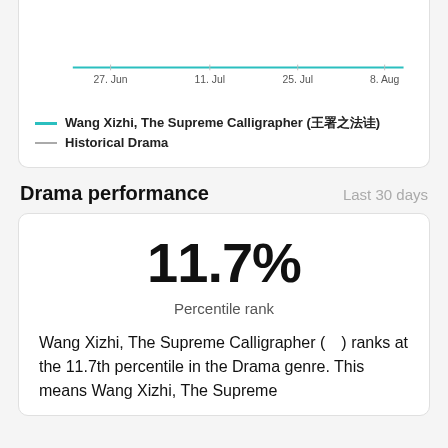[Figure (line-chart): ]
Wang Xizhi, The Supreme Calligrapher (王羲之)
Historical Drama
Drama performance
Last 30 days
11.7%
Percentile rank
Wang Xizhi, The Supreme Calligrapher (　) ranks at the 11.7th percentile in the Drama genre. This means Wang Xizhi, The Supreme